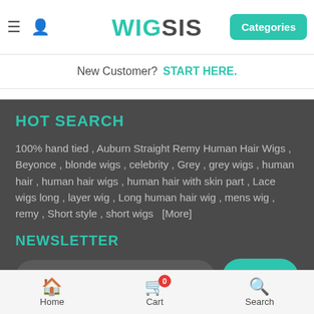WIG SIS | Categories | New Customer? START HERE.
HOT SEARCH
100% hand tied , Auburn Straight Remy Human Hair Wigs , Beyonce , blonde wigs , celebrity , Grey , grey wigs , human hair , human hair wigs , human hair with skin part , Lace wigs long , layer wig , Long human hair wig , mens wig , remy , Short style , short wigs [More]
NEWSLETTER
Sign up for our newsletter
ABOUT US
Home  Cart 0  Search